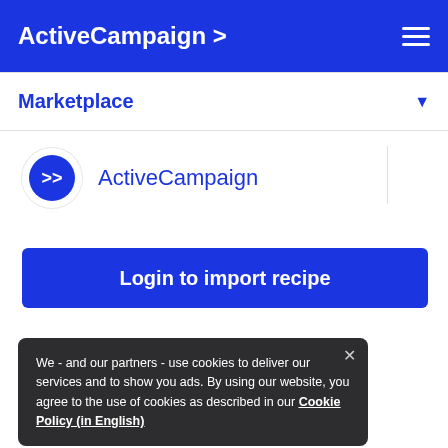ActiveCampaign >
Marketplace
[Figure (logo): ActiveCampaign circular logo with >> chevron icon in blue circle, followed by text 'ActiveCampaign']
Login to import recipe
We - and our partners - use cookies to deliver our services and to show you ads. By using our website, you agree to the use of cookies as described in our Cookie Policy (in English)